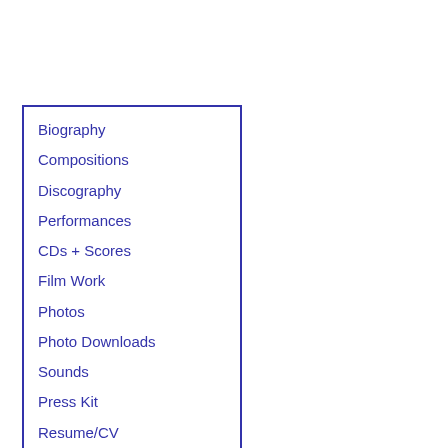Biography
Compositions
Discography
Performances
CDs + Scores
Film Work
Photos
Photo Downloads
Sounds
Press Kit
Resume/CV
Voice Over Work
Links
Home
Email